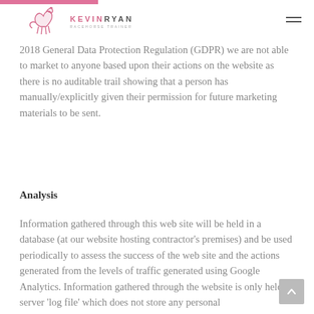Kevin Ryan Racehorse Trainer
2018 General Data Protection Regulation (GDPR) we are not able to market to anyone based upon their actions on the website as there is no auditable trail showing that a person has manually/explicitly given their permission for future marketing materials to be sent.
Analysis
Information gathered through this web site will be held in a database (at our website hosting contractor's premises) and be used periodically to assess the success of the web site and the actions generated from the levels of traffic generated using Google Analytics. Information gathered through the website is only held as server 'log file' which does not store any personal